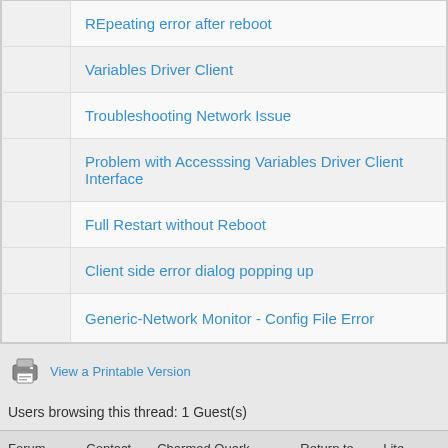| REpeating error after reboot |
| Variables Driver Client |
| Troubleshooting Network Issue |
| Problem with Accesssing Variables Driver Client Interface |
| Full Restart without Reboot |
| Client side error dialog popping up |
| Generic-Network Monitor - Config File Error |
View a Printable Version
Users browsing this thread: 1 Guest(s)
Forum Team | Contact Us | Charmed Quark Systems | Return to Top | Lite (Arc...
Powered By MyBB 1.8.21, © 2002-2022 MyBB Group.